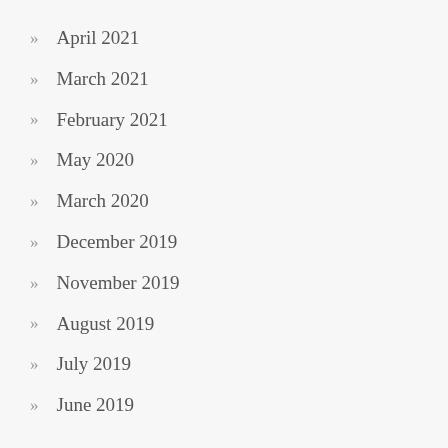April 2021
March 2021
February 2021
May 2020
March 2020
December 2019
November 2019
August 2019
July 2019
June 2019